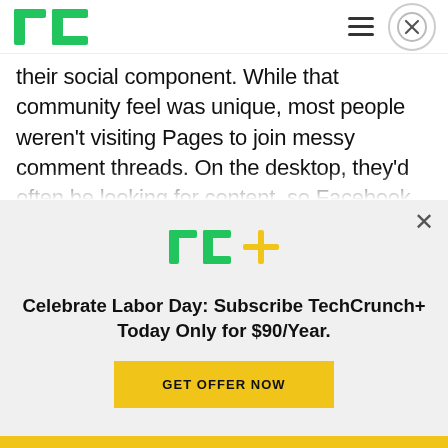TechCrunch
their social component. While that community feel was unique, most people weren't visiting Pages to join messy comment threads. On the desktop, they'd often be looking for content, so Facebook keeps the Timeline prominent. But on mobile, Facebook seems to have found people want actionable information so they can make decisions on the go. That's why it implemented this redesign
[Figure (logo): TC+ logo — TechCrunch plus sign logo in green and yellow]
Celebrate Labor Day: Subscribe TechCrunch+ Today Only for $90/Year.
GET OFFER NOW